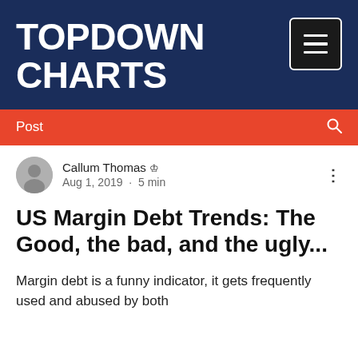TOPDOWN CHARTS
Post
Callum Thomas  Aug 1, 2019 · 5 min
US Margin Debt Trends: The Good, the bad, and the ugly...
Margin debt is a funny indicator, it gets frequently used and abused by both